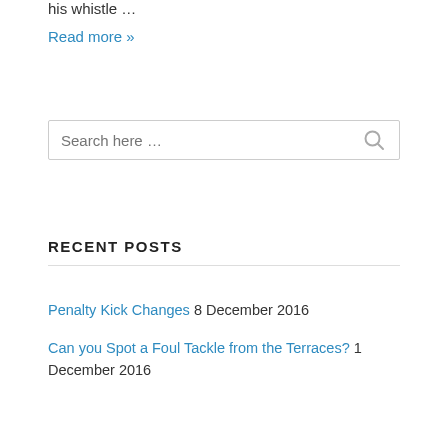his whistle …
Read more »
[Figure (other): Search input box with search icon button, placeholder text 'Search here …']
RECENT POSTS
Penalty Kick Changes  8 December 2016
Can you Spot a Foul Tackle from the Terraces?  1 December 2016